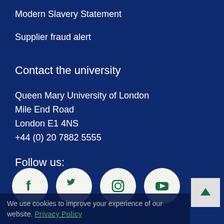Modern Slavery Statement
Supplier fraud alert
Contact the university
Queen Mary University of London
Mile End Road
London E1 4NS
+44 (0) 20 7882 5555
Follow us:
[Figure (infographic): Four social media icons in white circles on dark blue background: Facebook, Twitter, Instagram, YouTube]
We use cookies to improve your experience of our website. Privacy Policy